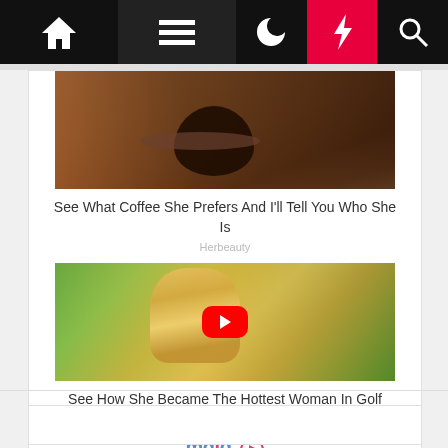[Figure (screenshot): Website navigation bar with home icon, hamburger menu, moon icon, red lightning bolt, and search icon on dark background]
[Figure (photo): Person holding a coffee cup up to their face with a saucer]
See What Coffee She Prefers And I'll Tell You Who She Is
Herbeauty
[Figure (photo): Blonde woman in yellow top on golf course, with YouTube play button overlay]
See How She Became The Hottest Woman In Golf
Traitslab
[Figure (logo): mgid logo with play button icon]